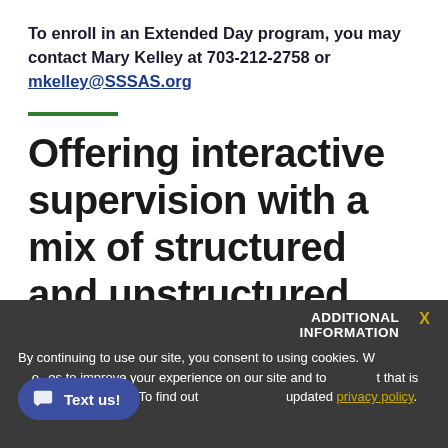To enroll in an Extended Day program, you may contact Mary Kelley at 703-212-2758 or mkelley@SSSAS.org
Offering interactive supervision with a mix of structured and unstructured activities
ADDITIONAL INFORMATION
By continuing to use our site, you consent to using cookies. We use cookies to improve your experience on our site and to content that is relevant and helpful. To find out more, see our updated privacy policy.